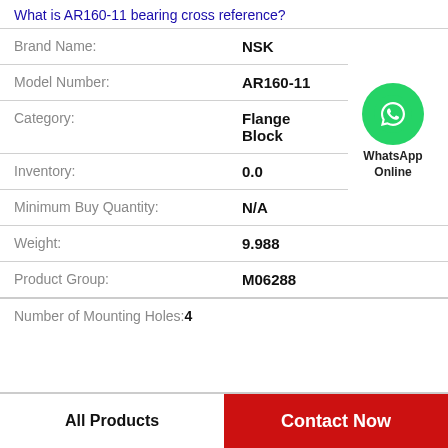What is AR160-11 bearing cross reference?
| Field | Value |
| --- | --- |
| Brand Name: | NSK |
| Model Number: | AR160-11 |
| Category: | Flange Block |
| Inventory: | 0.0 |
| Minimum Buy Quantity: | N/A |
| Weight: | 9.988 |
| Product Group: | M06288 |
| Number of Mounting Holes: | 4 |
[Figure (logo): WhatsApp Online contact button with green phone icon circle and text 'WhatsApp Online']
All Products
Contact Now